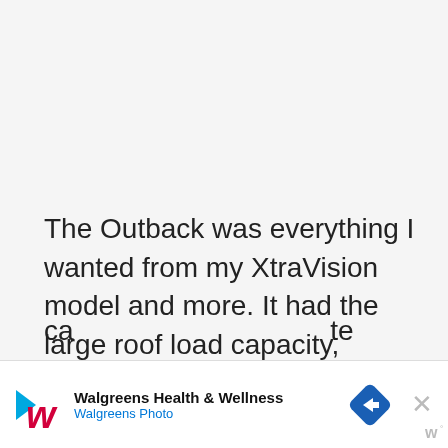The Outback was everything I wanted from my XtraVision model and more. It had the large roof load capacity, fishing rod holders, that new backup camera, and was even able to have my beloved windoors. After that, there was a distinct difference that changed the whole look of my truck. This truck bed ca...te po...with
[Figure (other): Walgreens Health & Wellness advertisement banner with Walgreens logo, text 'Walgreens Health & Wellness' and 'Walgreens Photo', a blue diamond-shaped navigation icon, and a close (X) button]